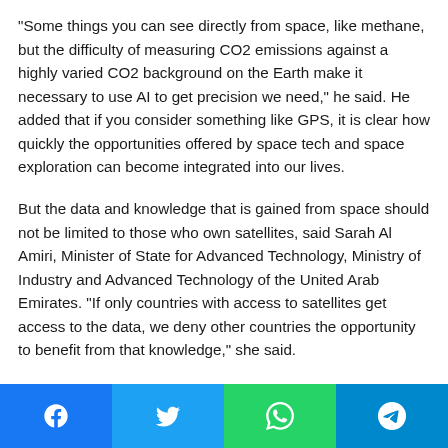“Some things you can see directly from space, like methane, but the difficulty of measuring CO2 emissions against a highly varied CO2 background on the Earth make it necessary to use AI to get precision we need,” he said. He added that if you consider something like GPS, it is clear how quickly the opportunities offered by space tech and space exploration can become integrated into our lives.
But the data and knowledge that is gained from space should not be limited to those who own satellites, said Sarah Al Amiri, Minister of State for Advanced Technology, Ministry of Industry and Advanced Technology of the United Arab Emirates. “If only countries with access to satellites get access to the data, we deny other countries the opportunity to benefit from that knowledge,” she said.
Social share buttons: Facebook, Twitter, WhatsApp, Telegram